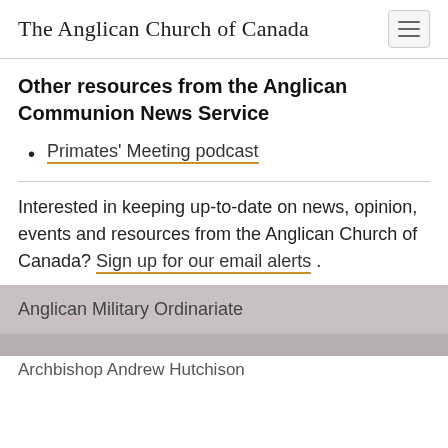The Anglican Church of Canada
Other resources from the Anglican Communion News Service
Primates' Meeting podcast
Interested in keeping up-to-date on news, opinion, events and resources from the Anglican Church of Canada? Sign up for our email alerts .
Anglican Military Ordinariate
Archbishop Andrew Hutchison